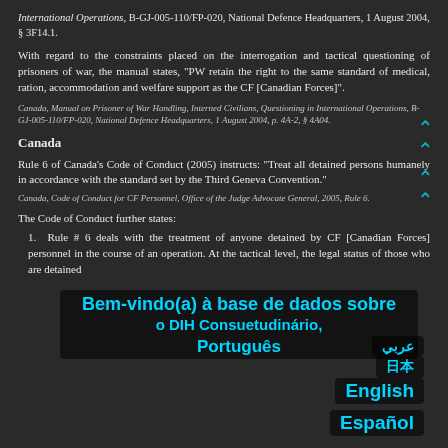International Operations, B-GJ-005-110/FP-020, National Defence Headquarters, 1 August 2004, § 3F14.1.
With regard to the constraints placed on the interrogation and tactical questioning of prisoners of war, the manual states, "PW retain the right to the same standard of medical, ration, accommodation and welfare support as the CF [Canadian Forces]".
Canada, Manual on Prisoner of War Handling, Interned Civilians, Questioning in International Operations, B-GJ-005-110/FP-020, National Defence Headquarters, 1 August 2004, p. 4A-2, § 4A04.
Canada
Rule 6 of Canada's Code of Conduct (2005) instructs: "Treat all detained persons humanely in accordance with the standard set by the Third Geneva Convention."
Canada, Code of Conduct for CF Personnel, Office of the Judge Advocate General, 2005, Rule 6.
The Code of Conduct further states:
1. Rule # 6 deals with the treatment of anyone detained by CF [Canadian Forces] personnel in the course of an operation. At the tactical level, the legal status of those who are detained